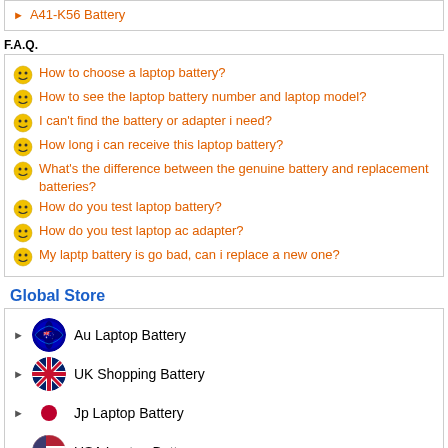A41-K56 Battery
F.A.Q.
How to choose a laptop battery?
How to see the laptop battery number and laptop model?
I can't find the battery or adapter i need?
How long i can receive this laptop battery?
What's the difference between the genuine battery and replacement batteries?
How do you test laptop battery?
How do you test laptop ac adapter?
My laptp battery is go bad, can i replace a new one?
Global Store
Au Laptop Battery
UK Shopping Battery
Jp Laptop Battery
USA Laptop Battery
B2c Laptop Batteries
UK Laptop Batteries